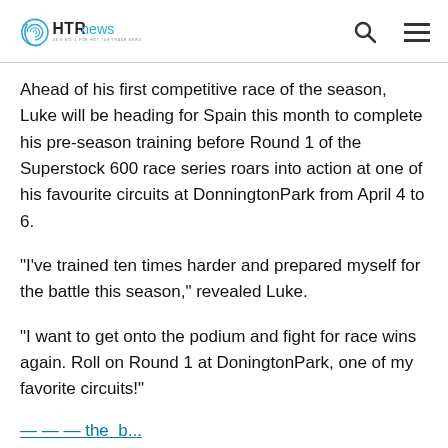HTR News
Ahead of his first competitive race of the season, Luke will be heading for Spain this month to complete his pre-season training before Round 1 of the Superstock 600 race series roars into action at one of his favourite circuits at DonningtonPark from April 4 to 6.
“I’ve trained ten times harder and prepared myself for the battle this season,” revealed Luke.
“I want to get onto the podium and fight for race wins again. Roll on Round 1 at DoningtonPark, one of my favorite circuits!”